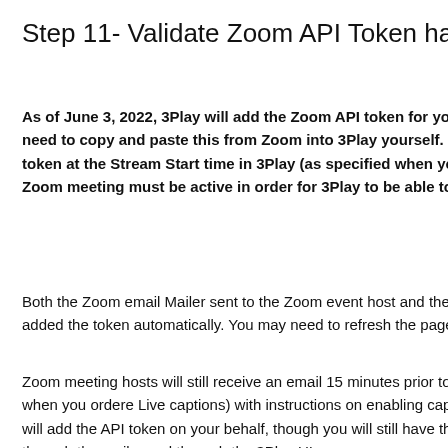Step 11- Validate Zoom API Token has been adde
As of June 3, 2022, 3Play will add the Zoom API token for you into 3Pl need to copy and paste this from Zoom into 3Play yourself. 3Play will token at the Stream Start time in 3Play (as specified when you ordere Zoom meeting must be active in order for 3Play to be able to retrieve
Both the Zoom email Mailer sent to the Zoom event host and the 3Play UI added the token automatically. You may need to refresh the page to see th
Zoom meeting hosts will still receive an email 15 minutes prior to the Strea when you ordere Live captions) with instructions on enabling captions. The will add the API token on your behalf, though you will still have the ability to through the mailer and through the 3Play UI.